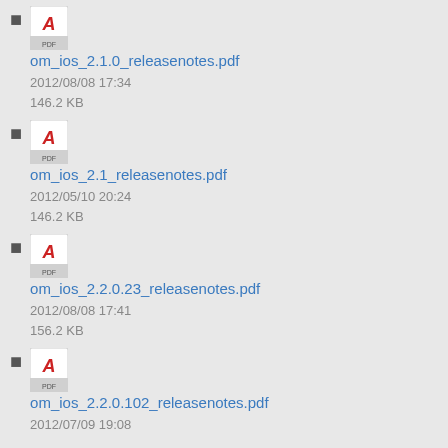om_ios_2.1.0_releasenotes.pdf
2012/08/08 17:34
146.2 KB
om_ios_2.1_releasenotes.pdf
2012/05/10 20:24
146.2 KB
om_ios_2.2.0.23_releasenotes.pdf
2012/08/08 17:41
156.2 KB
om_ios_2.2.0.102_releasenotes.pdf
2012/07/09 19:08